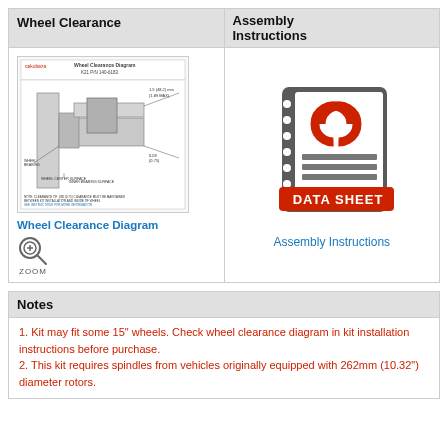Wheel Clearance
Assembly Instructions
[Figure (engineering-diagram): Wheel Clearance Diagram showing cross-section of brake kit installation with dimensional annotations. Title: Wheel Clearance Diagram. K21 P/N 140-6183.]
Wheel Clearance Diagram
[Figure (illustration): Data Sheet icon: stylized notebook with red Centric logo and 'DATA SHEET' red banner label]
Assembly Instructions
Notes
1. Kit may fit some 15" wheels. Check wheel clearance diagram in kit installation instructions before purchase.
2. This kit requires spindles from vehicles originally equipped with 262mm (10.32") diameter rotors.